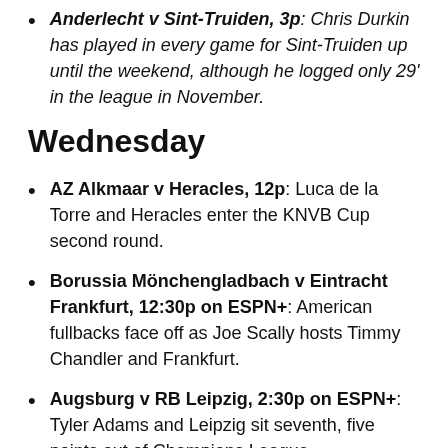Anderlecht v Sint-Truiden, 3p: Chris Durkin has played in every game for Sint-Truiden up until the weekend, although he logged only 29' in the league in November.
Wednesday
AZ Alkmaar v Heracles, 12p: Luca de la Torre and Heracles enter the KNVB Cup second round.
Borussia Mönchengladbach v Eintracht Frankfurt, 12:30p on ESPN+: American fullbacks face off as Joe Scally hosts Timmy Chandler and Frankfurt.
Augsburg v RB Leipzig, 2:30p on ESPN+: Tyler Adams and Leipzig sit seventh, five points out of Champions League.